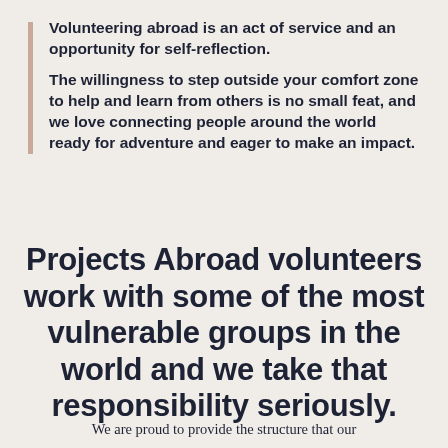Volunteering abroad is an act of service and an opportunity for self-reflection.
The willingness to step outside your comfort zone to help and learn from others is no small feat, and we love connecting people around the world ready for adventure and eager to make an impact.
Projects Abroad volunteers work with some of the most vulnerable groups in the world and we take that responsibility seriously.
We are proud to provide the structure that our